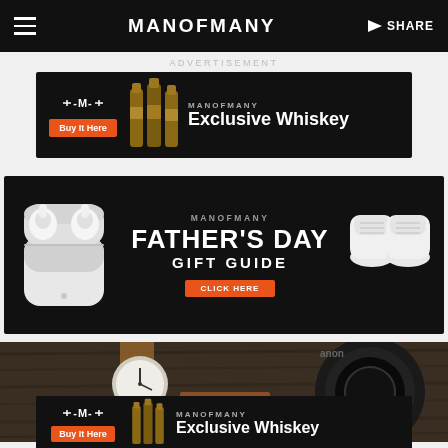MANOFMANY   SHARE
ADVERTISEMENT
[Figure (infographic): Man of Many Exclusive Whiskey advertisement banner with orange Buy It Here button and whiskey bottles image]
[Figure (infographic): Man of Many Father's Day Gift Guide banner with AirPods and white sneakers, orange CLICK HERE button]
[Figure (photo): Flatlay photo of a brown leather watch with white dial, leather wallet, and Canon camera lens on a wooden surface]
[Figure (infographic): Man of Many Exclusive Whiskey advertisement banner at bottom, partially visible]